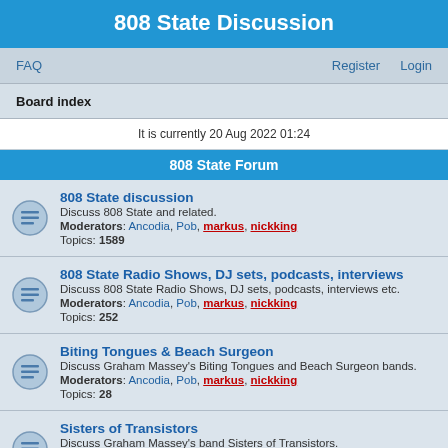808 State Discussion
FAQ | Register | Login
Board index
It is currently 20 Aug 2022 01:24
808 State Forum
808 State discussion — Discuss 808 State and related. Moderators: Ancodia, Pob, markus, nickking. Topics: 1589
808 State Radio Shows, DJ sets, podcasts, interviews — Discuss 808 State Radio Shows, DJ sets, podcasts, interviews etc. Moderators: Ancodia, Pob, markus, nickking. Topics: 252
Biting Tongues & Beach Surgeon — Discuss Graham Massey's Biting Tongues and Beach Surgeon bands. Moderators: Ancodia, Pob, markus, nickking. Topics: 28
Sisters of Transistors — Discuss Graham Massey's band Sisters of Transistors. Moderators: Ancodia, Pob, markus, nickking. Topics: 14
Toolshed — Discuss Graham Massey's Toolshed band.